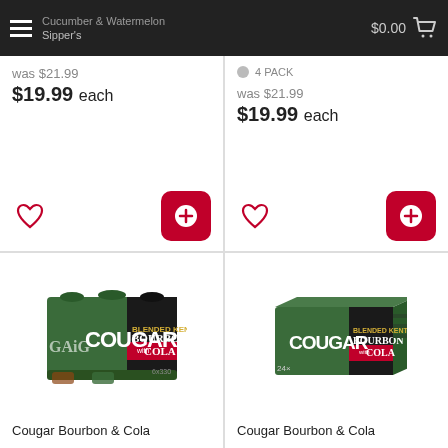Sipper's — $0.00
was $21.99
$19.99 each
4 PACK
was $21.99
$19.99 each
[Figure (photo): Cougar Bourbon & Cola 6-pack cans (green packaging)]
Cougar Bourbon & Cola
[Figure (photo): Cougar Bourbon & Cola 24-can box (green packaging)]
Cougar Bourbon & Cola